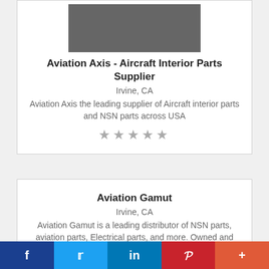[Figure (logo): Gray rectangular logo placeholder for Aviation Axis]
Aviation Axis - Aircraft Interior Parts Supplier
Irvine, CA
Aviation Axis the leading supplier of Aircraft interior parts and NSN parts across USA
★★★★★
Aviation Gamut
Irvine, CA
Aviation Gamut is a leading distributor of NSN parts, aviation parts, Electrical parts, and more. Owned and operated by ASAP Semiconductor
★★★★★
f  Twitter  in  Pinterest  +